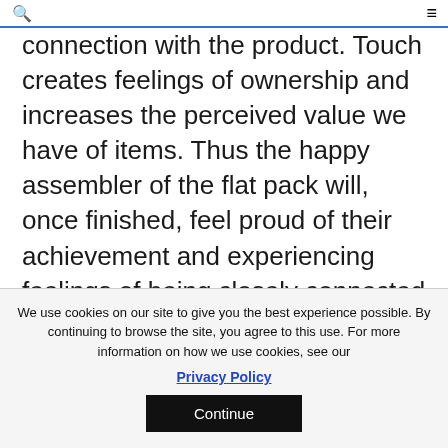🔍 ☰
connection with the product. Touch creates feelings of ownership and increases the perceived value we have of items. Thus the happy assembler of the flat pack will, once finished, feel proud of their achievement and experiencing feelings of being closely connected to the item.
Round and round in circles
We use cookies on our site to give you the best experience possible. By continuing to browse the site, you agree to this use. For more information on how we use cookies, see our
Privacy Policy
Continue